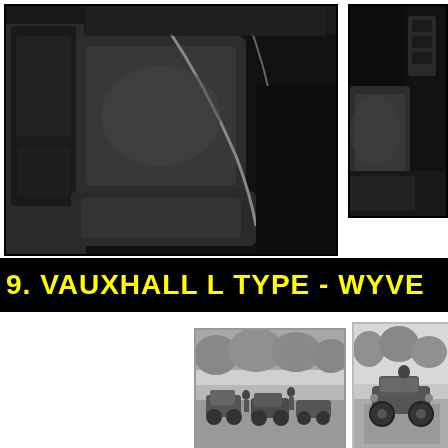[Figure (photo): Black and white photograph of a car interior showing leather seats, door panel, and steering wheel area]
[Figure (photo): Black and white photograph of car interior rear/side showing seat and door]
9. VAUXHALL L TYPE - WYVE
[Figure (photo): Old black and white photograph showing vintage early automobiles gathered outdoors]
[Figure (photo): Old black and white photograph showing a vintage early automobile on a street]